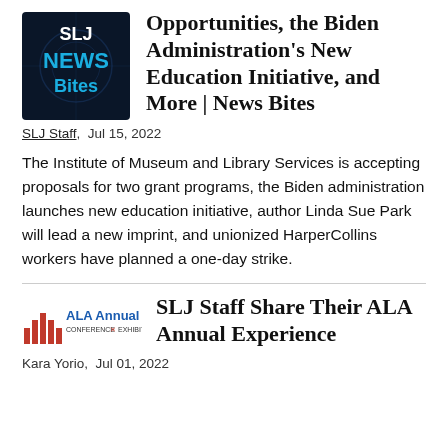[Figure (logo): SLJ News Bites logo — dark blue background with 'SLJ NEWS Bites' text in white and cyan]
Opportunities, the Biden Administration's New Education Initiative, and More | News Bites
SLJ Staff,  Jul 15, 2022
The Institute of Museum and Library Services is accepting proposals for two grant programs, the Biden administration launches new education initiative, author Linda Sue Park will lead a new imprint, and unionized HarperCollins workers have planned a one-day strike.
[Figure (logo): ALA Annual Conference & Exhibition logo — red building icon with blue text]
SLJ Staff Share Their ALA Annual Experience
Kara Yorio,  Jul 01, 2022